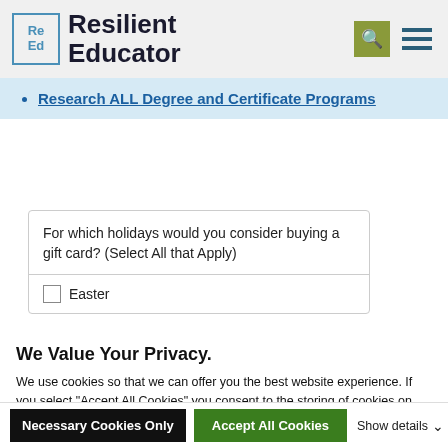[Figure (logo): Resilient Educator logo with Re Ed in a blue bordered box and site name in bold]
Research ALL Degree and Certificate Programs
For which holidays would you consider buying a gift card? (Select All that Apply)
Easter
We Value Your Privacy.
We use cookies so that we can offer you the best website experience. If you select “Accept All Cookies” you consent to the storing of cookies on your device that help us analyze your site usage, analyze our traffic, and assist in our marketing efforts. If you select “Necessary Cookies Only” we will only store cookies that are strictly necessary for the site to function properly. For more information see our Privacy Policy.
Necessary Cookies Only | Accept All Cookies | Show details